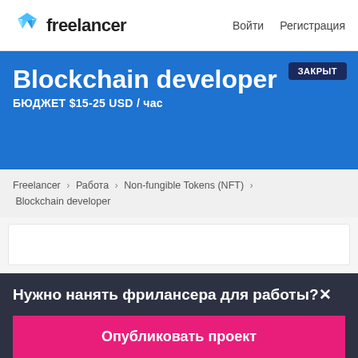freelancer   Войти   Регистрация
Blockchain developer
БЮДЖЕТ $15-25 USD / час
ЗАКРЫТ
Freelancer › Работа › Non-fungible Tokens (NFT) › Blockchain developer
Нужно нанять фрилансера для работы?✕
Опубликовать проект